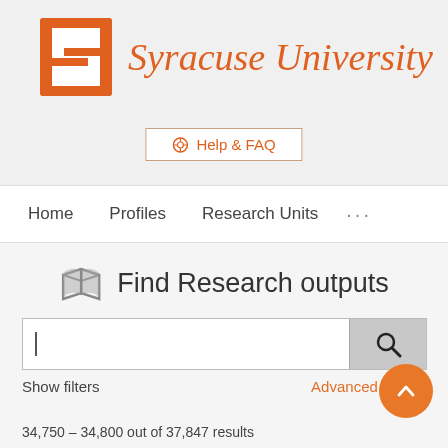[Figure (logo): Syracuse University logo: orange block S icon with 'Syracuse University' in orange italic serif text]
Help & FAQ
Home   Profiles   Research Units   ...
Find Research outputs
Show filters
Advanced search
34,750 – 34,800 out of 37,847 results